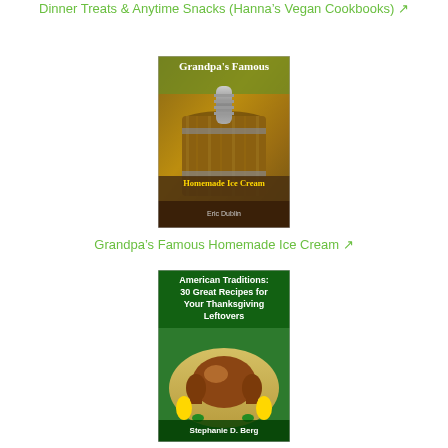Dinner Treats & Anytime Snacks (Hanna's Vegan Cookbooks)
[Figure (illustration): Book cover: Grandpa's Famous Homemade Ice Cream by Eric Dublin, showing a wooden ice cream churn bucket with a metal dasher]
Grandpa's Famous Homemade Ice Cream
[Figure (illustration): Book cover: American Traditions: 30 Great Recipes for Your Thanksgiving Leftovers by Stephanie D. Berg, showing a roasted turkey with corn and vegetables on a platter]